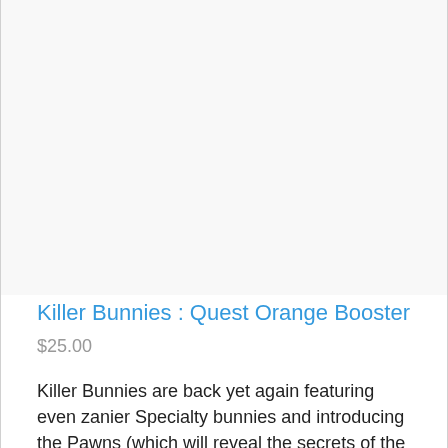[Figure (photo): Product image area — blank/white placeholder for Killer Bunnies Quest Orange Booster product photo]
Killer Bunnies : Quest Orange Booster
$25.00
Killer Bunnies are back yet again featuring even zanier Specialty bunnies and introducing the Pawns (which will reveal the secrets of the P-Cards)! The Orange Booster Deck adds 55 cards to your existin